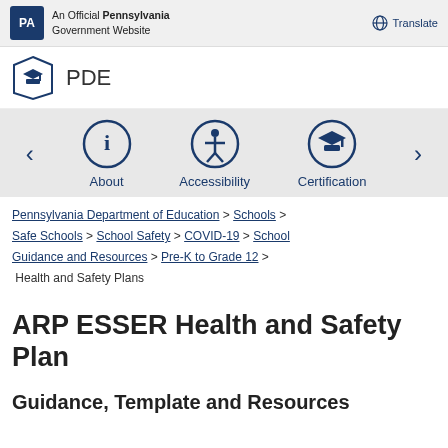An Official Pennsylvania Government Website | Translate
[Figure (logo): PDE Pennsylvania Department of Education logo with graduation cap icon]
[Figure (infographic): Navigation bar with About (info icon), Accessibility (person icon), Certification (graduation cap icon) and left/right arrows]
Pennsylvania Department of Education > Schools > Safe Schools > School Safety > COVID-19 > School Guidance and Resources > Pre-K to Grade 12 > Health and Safety Plans
ARP ESSER Health and Safety Plan
Guidance, Templates and Resources